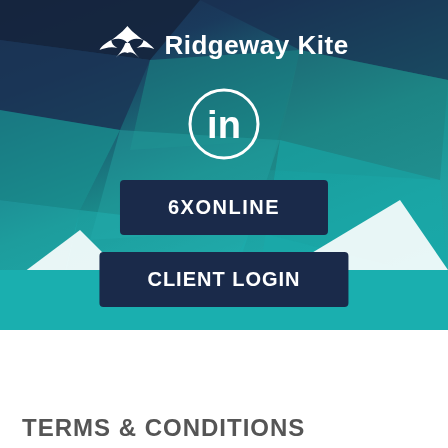[Figure (illustration): Ridgeway Kite brand header with geometric polygon teal/dark blue background, bird logo, LinkedIn icon, two dark navy buttons (6XONLINE, CLIENT LOGIN), and a MENU button on teal bar]
Ridgeway Kite
6XONLINE
CLIENT LOGIN
MENU
TERMS & CONDITIONS